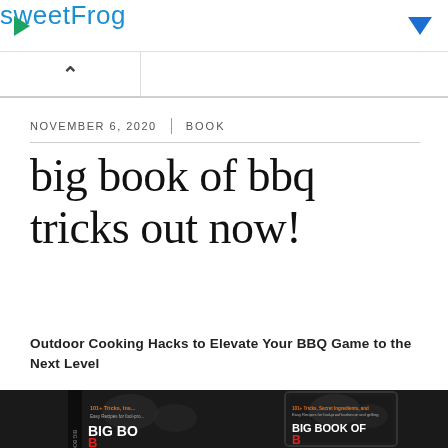sweetFrog
NOVEMBER 6, 2020 | BOOK
big book of bbq tricks out now!
Outdoor Cooking Hacks to Elevate Your BBQ Game to the Next Level
[Figure (photo): Photo of the Big Book of BBQ Tricks book cover shown as both a physical book and on a tablet/e-reader, black cover with white text and food illustrations]